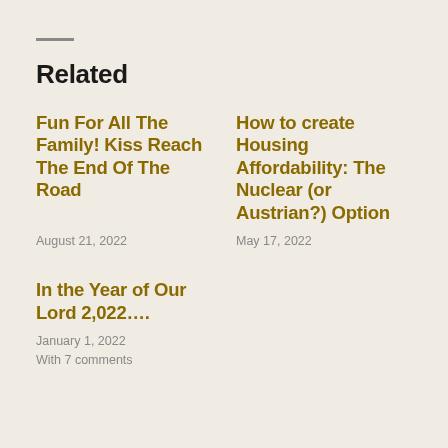Related
Fun For All The Family! Kiss Reach The End Of The Road
August 21, 2022
How to create Housing Affordability: The Nuclear (or Austrian?) Option
May 17, 2022
In the Year of Our Lord 2,022….
January 1, 2022
With 7 comments